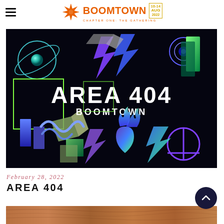BOOMTOWN – CHAPTER ONE: THE GATHERING | 10-14 AUG 2022
[Figure (illustration): Area 404 Boomtown promotional artwork – dark background with colorful 3D geometric shapes, lightning bolts, a heart with flames, an atom symbol, a spiral, gradient shapes in green/purple/blue. Bold white text reads 'AREA 404' with 'BOOMTOWN' below in white.]
February 28, 2022
AREA 404
[Figure (photo): Partial view of a wooden surface texture at the bottom of the page.]